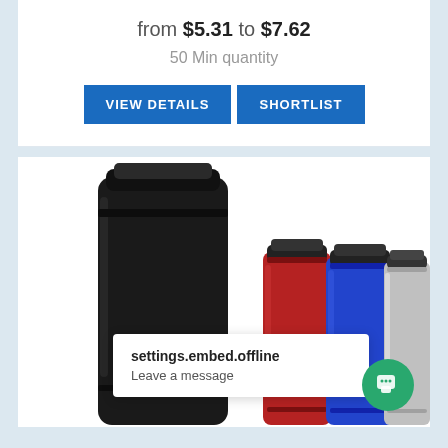from $5.31 to $7.62
50 Min quantity
VIEW DETAILS
SHORTLIST
[Figure (photo): Four travel tumblers/mugs: one large black mug in foreground, and three smaller mugs in red, blue, and silver in background]
settings.embed.offline
Leave a message